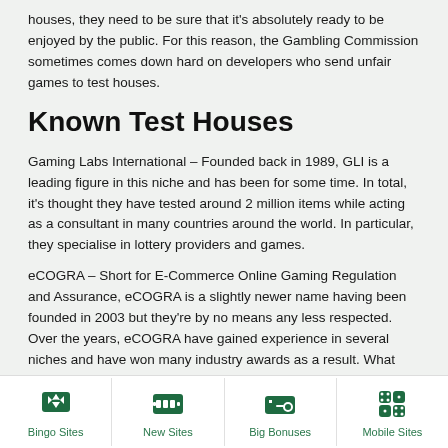houses, they need to be sure that it's absolutely ready to be enjoyed by the public. For this reason, the Gambling Commission sometimes comes down hard on developers who send unfair games to test houses.
Known Test Houses
Gaming Labs International – Founded back in 1989, GLI is a leading figure in this niche and has been for some time. In total, it's thought they have tested around 2 million items while acting as a consultant in many countries around the world. In particular, they specialise in lottery providers and games.
eCOGRA – Short for E-Commerce Online Gaming Regulation and Assurance, eCOGRA is a slightly newer name having been founded in 2003 but they're by no means any less respected. Over the years, eCOGRA have gained experience in several niches and have won many industry awards as a result. What sets eCOGRA apart from the competition is the fact that most team members have experience
Bingo Sites  New Sites  Big Bonuses  Mobile Sites